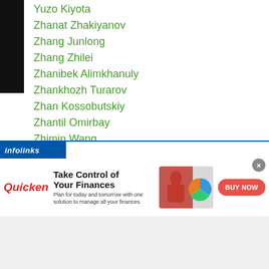Yuzo Kiyota
Zhanat Zhakiyanov
Zhang Junlong
Zhang Zhilei
Zhanibek Alimkhanuly
Zhankhozh Turarov
Zhan Kossobutskiy
Zhantil Omirbay
Zhimin Wang
Zhiyu Wu
Zirolian Riku
Zong Li He
Zoushiming
Zou Shiming
Zulipikaer Maimaitiali
Zulpikaer Maimaitiali
[Figure (screenshot): Infolinks advertisement banner: Quicken 'Take Control of Your Finances' ad with BUY NOW button]